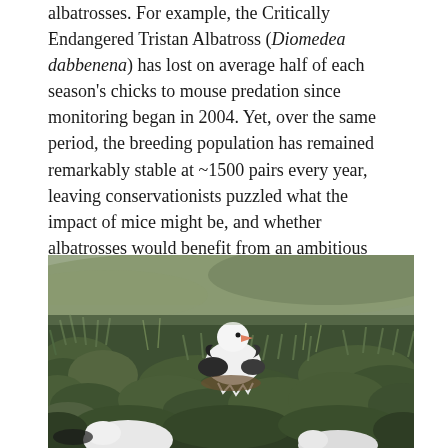albatrosses. For example, the Critically Endangered Tristan Albatross (Diomedea dabbenena) has lost on average half of each season's chicks to mouse predation since monitoring began in 2004. Yet, over the same period, the breeding population has remained remarkably stable at ~1500 pairs every year, leaving conservationists puzzled what the impact of mice might be, and whether albatrosses would benefit from an ambitious operation to eradicate mice from their main breeding island.
[Figure (photo): Photograph of a Tristan Albatross (large white seabird with black wings) sitting on a nest amid green grasses and tussock vegetation on a hillside, with another white bird visible at the bottom of the frame.]